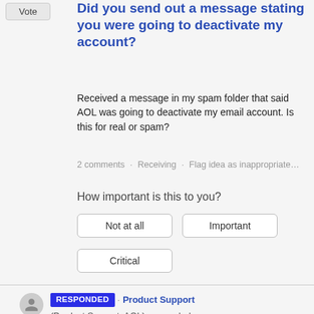Vote
Did you send out a message stating you were going to deactivate my account?
Received a message in my spam folder that said AOL was going to deactivate my email account. Is this for real or spam?
2 comments · Receiving · Flag idea as inappropriate…
How important is this to you?
Not at all
Important
Critical
RESPONDED · Product Support (Product Support, AOL) responded
Thank you for sharing your feedback. We appreciate you checking in about the emails you are receiving. We have an article that will explain those emails, how to spot spam,